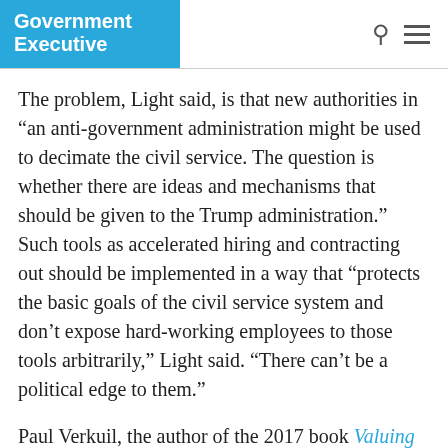Government Executive
The problem, Light said, is that new authorities in “an anti-government administration might be used to decimate the civil service. The question is whether there are ideas and mechanisms that should be given to the Trump administration.” Such tools as accelerated hiring and contracting out should be implemented in a way that “protects the basic goals of the civil service system and don’t expose hard-working employees to those tools arbitrarily,” Light said. “There can’t be a political edge to them.”
Paul Verkuil, the author of the 2017 book Valuing Bureaucracy who served five years in the Obama administration as chairman of the Administrative Conference of the United States, said that some Trump